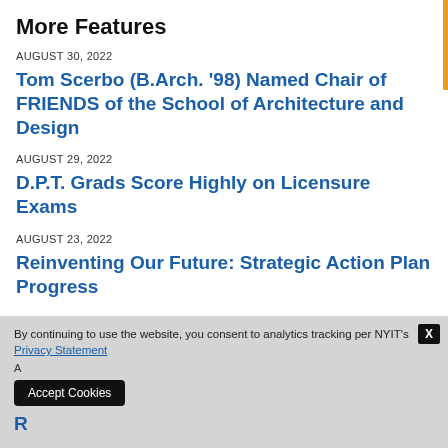More Features
AUGUST 30, 2022
Tom Scerbo (B.Arch. '98) Named Chair of FRIENDS of the School of Architecture and Design
AUGUST 29, 2022
D.P.T. Grads Score Highly on Licensure Exams
AUGUST 23, 2022
Reinventing Our Future: Strategic Action Plan Progress
By continuing to use the website, you consent to analytics tracking per NYIT's Privacy Statement
Accept Cookies